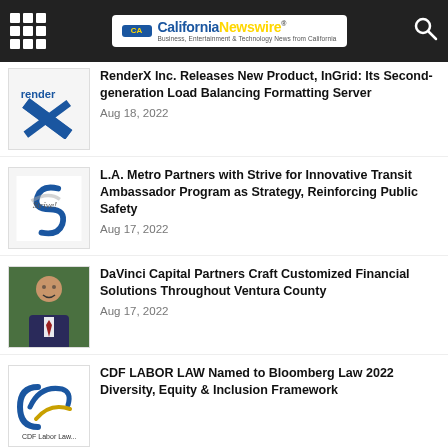California Newswire - Business, Entertainment & Technology News from California
RenderX Inc. Releases New Product, InGrid: Its Second-generation Load Balancing Formatting Server
Aug 18, 2022
L.A. Metro Partners with Strive for Innovative Transit Ambassador Program as Strategy, Reinforcing Public Safety
Aug 17, 2022
DaVinci Capital Partners Craft Customized Financial Solutions Throughout Ventura County
Aug 17, 2022
CDF LABOR LAW Named to Bloomberg Law 2022 Diversity, Equity & Inclusion Framework